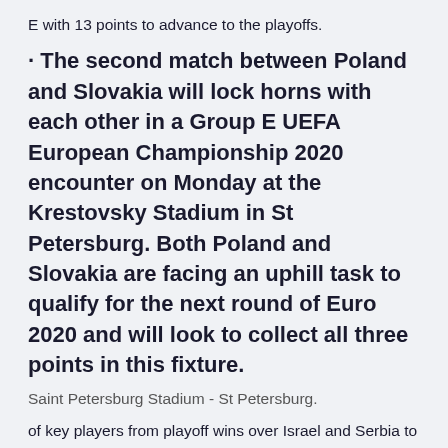E with 13 points to advance to the playoffs.
· The second match between Poland and Slovakia will lock horns with each other in a Group E UEFA European Championship 2020 encounter on Monday at the Krestovsky Stadium in St Petersburg. Both Poland and Slovakia are facing an uphill task to qualify for the next round of Euro 2020 and will look to collect all three points in this fixture.
Saint Petersburg Stadium - St Petersburg.
of key players from playoff wins over Israel and Serbia to finally win in Group E of the Euro 2020 in order for